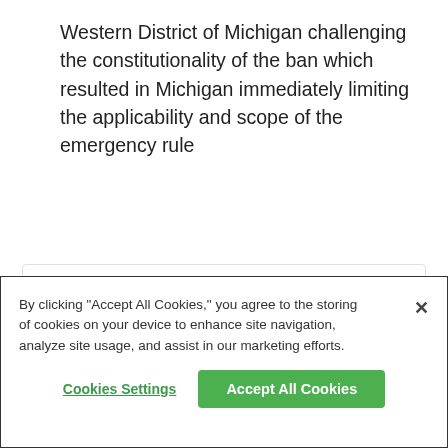Western District of Michigan challenging the constitutionality of the ban which resulted in Michigan immediately limiting the applicability and scope of the emergency rule
BLOG: CONTINUUM OF RISK
07.14.2022
Federal Court Rules That FDA Was Arbitrary and Capricious in Deeming Premium Cigars Subje…
By clicking "Accept All Cookies," you agree to the storing of cookies on your device to enhance site navigation, analyze site usage, and assist in our marketing efforts.